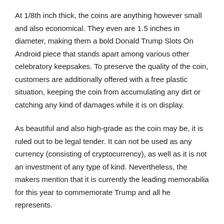At 1/8th inch thick, the coins are anything however small and also economical. They even are 1.5 inches in diameter, making them a bold Donald Trump Slots On Android piece that stands apart among various other celebratory keepsakes. To preserve the quality of the coin, customers are additionally offered with a free plastic situation, keeping the coin from accumulating any dirt or catching any kind of damages while it is on display.
As beautiful and also high-grade as the coin may be, it is ruled out to be legal tender. It can not be used as any currency (consisting of cryptocurrency), as well as it is not an investment of any type of kind. Nevertheless, the makers mention that it is currently the leading memorabilia for this year to commemorate Trump and all he represents.
Purchasing the President Trump 2022 Coin.